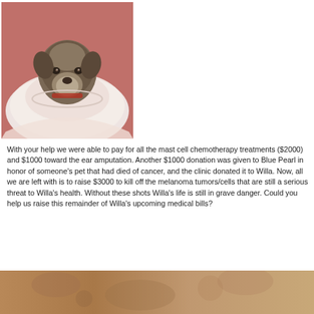[Figure (photo): A dog wearing a white medical cone (Elizabethan collar) looking upward at the camera, lying on a red surface. The dog appears to be a brindle/grey mixed breed.]
With your help we were able to pay for all the mast cell chemotherapy treatments ($2000) and $1000 toward the ear amputation. Another $1000 donation was given to Blue Pearl in honor of someone’s pet that had died of cancer, and the clinic donated it to Willa. Now, all we are left with is to raise $3000 to kill off the melanoma tumors/cells that are still a serious threat to Willa’s health. Without these shots Willa’s life is still in grave danger. Could you help us raise this remainder of Willa’s upcoming medical bills?
[Figure (photo): A close-up photo showing what appears to be a dog’s skin or fur, possibly showing tumors or medical condition on the animal.]